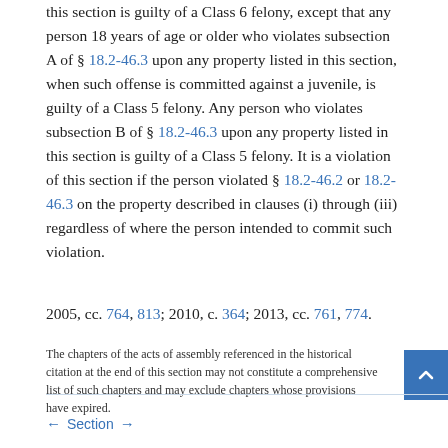this section is guilty of a Class 6 felony, except that any person 18 years of age or older who violates subsection A of § 18.2-46.3 upon any property listed in this section, when such offense is committed against a juvenile, is guilty of a Class 5 felony. Any person who violates subsection B of § 18.2-46.3 upon any property listed in this section is guilty of a Class 5 felony. It is a violation of this section if the person violated § 18.2-46.2 or 18.2-46.3 on the property described in clauses (i) through (iii) regardless of where the person intended to commit such violation.
2005, cc. 764, 813; 2010, c. 364; 2013, cc. 761, 774.
The chapters of the acts of assembly referenced in the historical citation at the end of this section may not constitute a comprehensive list of such chapters and may exclude chapters whose provisions have expired.